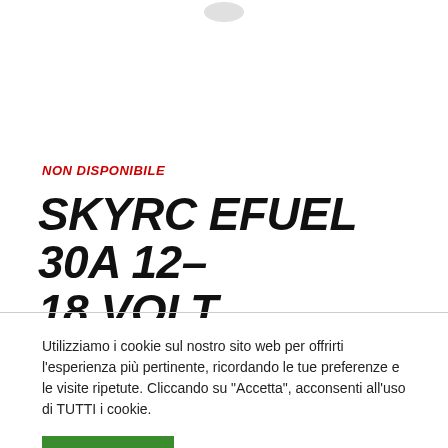[Figure (photo): Partial product image at top of page, mostly cropped/white]
NON DISPONIBILE
SKYRC EFUEL 30A 12-18 VOLT POWERSUPPLY
Utilizziamo i cookie sul nostro sito web per offrirti l'esperienza più pertinente, ricordando le tue preferenze e le visite ripetute. Cliccando su "Accetta", acconsenti all'uso di TUTTI i cookie.
ACCETTA